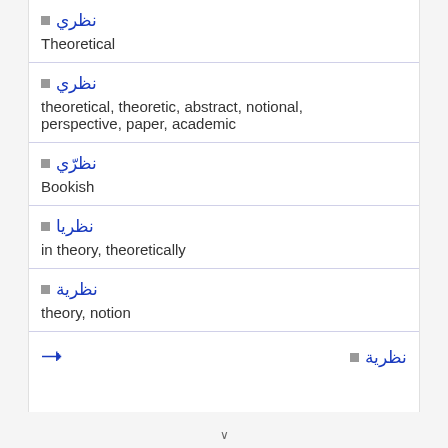نظري — Theoretical
نظري — theoretical, theoretic, abstract, notional, perspective, paper, academic
نظرّي — Bookish
نظريا — in theory, theoretically
نظرية — theory, notion
نظرية — (with arrow icon)